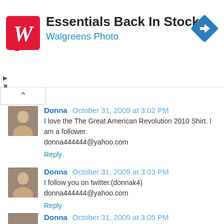[Figure (infographic): Walgreens ad banner: red Walgreens logo on left, 'Essentials Back In Stock' title and 'Walgreens Photo' subtitle in center, blue diamond navigation icon on right]
Donna  October 31, 2009 at 3:02 PM
I love the The Great American Revolution 2010 Shirt. I am a follower.
donna444444@yahoo.com
Reply
Donna  October 31, 2009 at 3:03 PM
I follow you on twitter.(donnak4)
donna444444@yahoo.com
Reply
Donna  October 31, 2009 at 3:05 PM